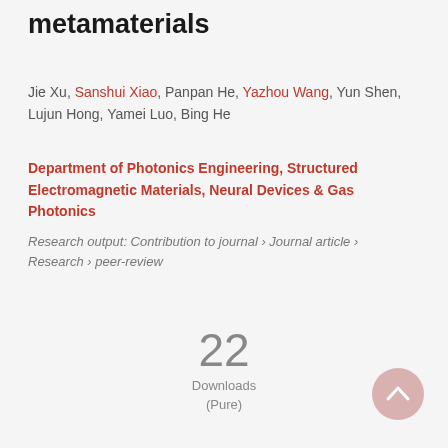metamaterials
Jie Xu, Sanshui Xiao, Panpan He, Yazhou Wang, Yun Shen, Lujun Hong, Yamei Luo, Bing He
Department of Photonics Engineering, Structured Electromagnetic Materials, Neural Devices & Gas Photonics
Research output: Contribution to journal › Journal article › Research › peer-review
22 Downloads (Pure)
[Figure (other): Scroll-to-top button, circular pink/rose colored button with upward chevron arrow]